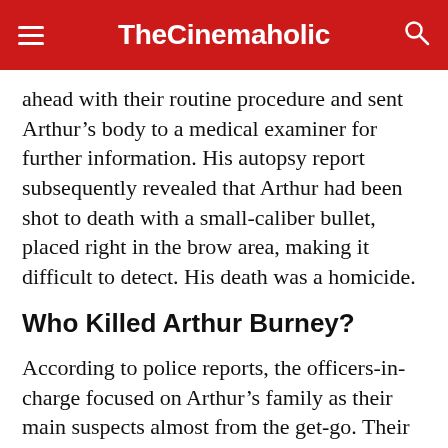TheCinemaholic
ahead with their routine procedure and sent Arthur’s body to a medical examiner for further information. His autopsy report subsequently revealed that Arthur had been shot to death with a small-caliber bullet, placed right in the brow area, making it difficult to detect. His death was a homicide.
Who Killed Arthur Burney?
According to police reports, the officers-in-charge focused on Arthur’s family as their main suspects almost from the get-go. Their reasoning for this, apart from Patricia’s